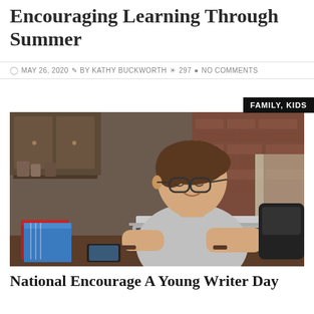Encouraging Learning Through Summer
MAY 26, 2020  BY KATHY BUCKWORTH  297  NO COMMENTS
FAMILY, KIDS
[Figure (photo): A teenage boy with glasses smiling while typing on a laptop, seated at a wooden desk with notebooks and a phone, brick wall and kitchen in the background.]
National Encourage A Young Writer Day